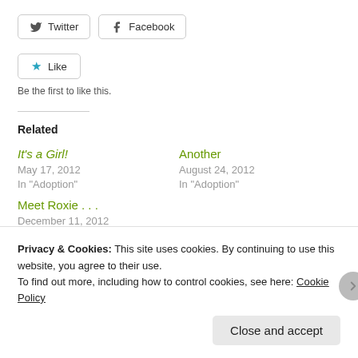[Figure (other): Twitter and Facebook share buttons with icons and rounded borders]
[Figure (other): Like button with blue star icon and rounded border, with text 'Be the first to like this.' below]
Be the first to like this.
Related
It's a Girl!
May 17, 2012
In "Adoption"
Another
August 24, 2012
In "Adoption"
Meet Roxie . . .
December 11, 2012
In "Adoption"
Privacy & Cookies: This site uses cookies. By continuing to use this website, you agree to their use.
To find out more, including how to control cookies, see here: Cookie Policy
Close and accept